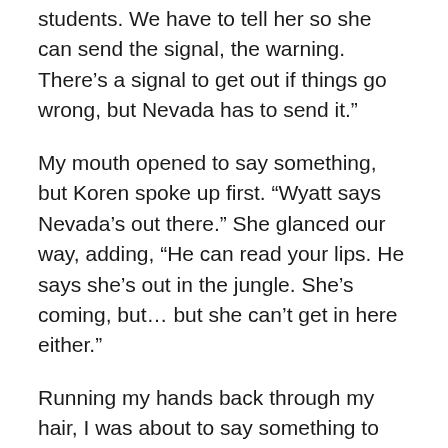students. We have to tell her so she can send the signal, the warning. There’s a signal to get out if things go wrong, but Nevada has to send it.”
My mouth opened to say something, but Koren spoke up first. “Wyatt says Nevada’s out there.” She glanced our way, adding, “He can read your lips. He says she’s out in the jungle. She’s coming, but… but she can’t get in here either.”
Running my hands back through my hair, I was about to say something to that when a new distraction came in the form of Harper. She was coming through the trees, with Vulcan, Columbus, Deveron, and Doug.
“What–where’s Sean?” I demanded, looking past them. Vulcan was there, head down and whining. But there was no sign of his human partner.